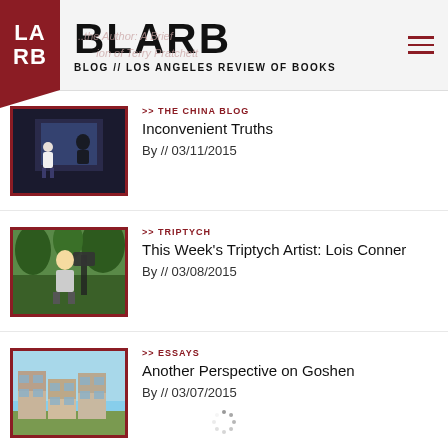BLARB BLOG // LOS ANGELES REVIEW OF BOOKS
[Figure (photo): Dark stage photo with woman in white top and silhouette projection]
>> THE CHINA BLOG
Inconvenient Truths
By // 03/11/2015
[Figure (photo): Blonde woman with large format camera in outdoor setting]
>> TRIPTYCH
This Week's Triptych Artist: Lois Conner
By // 03/08/2015
[Figure (photo): Modern modular building exterior with cubic forms]
>> ESSAYS
Another Perspective on Goshen
By // 03/07/2015
[Figure (other): Loading spinner icon]